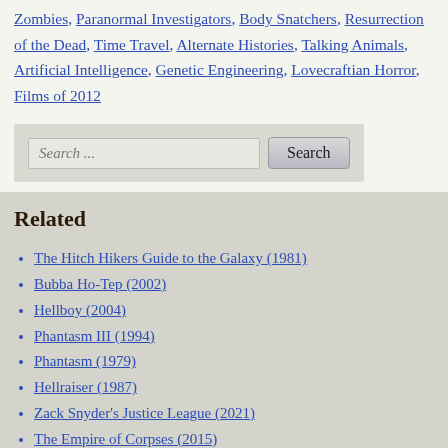Zombies, Paranormal Investigators, Body Snatchers, Resurrection of the Dead, Time Travel, Alternate Histories, Talking Animals, Artificial Intelligence, Genetic Engineering, Lovecraftian Horror, Films of 2012
[Figure (screenshot): Search input box with placeholder text 'Search ...' and a Search button]
Related
The Hitch Hikers Guide to the Galaxy (1981)
Bubba Ho-Tep (2002)
Hellboy (2004)
Phantasm III (1994)
Phantasm (1979)
Hellraiser (1987)
Zack Snyder's Justice League (2021)
The Empire of Corpses (2015)
Phantasm: Ravager (2016)